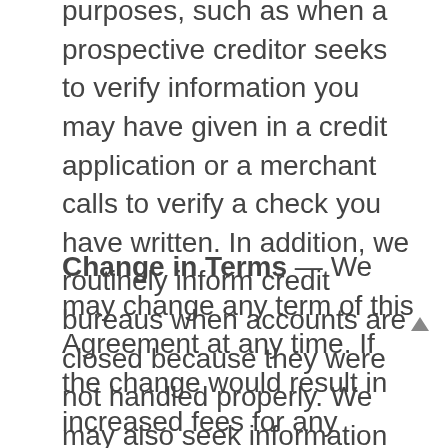purposes, such as when a prospective creditor seeks to verify information you may have given in a credit application or a merchant calls to verify a check you have written. In addition, we routinely inform credit bureaus when accounts are closed because they were not handled properly. We may also seek information about you from others, such as the credit bureau, in connection with the opening or maintaining of your account or in connection with approving your access to HORIZON ONLINE. You agree and hereby authorize all of these transfers of information.
Change in Terms — We may change any term of this Agreement at any time. If the change would result in increased fees for any HORIZON ONLINE service, increased liability for you, fewer types of available electronic fund transfers, stricter limitations on the frequency or dollar amount of transfers, we agree to give you notice at least 30